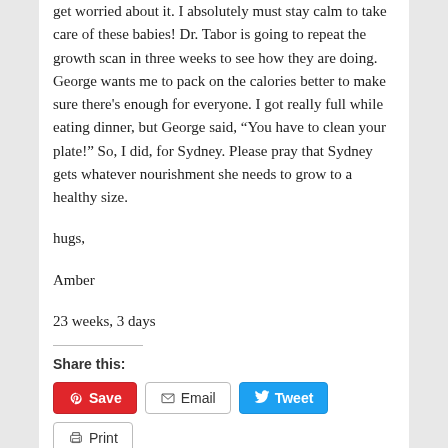get worried about it. I absolutely must stay calm to take care of these babies! Dr. Tabor is going to repeat the growth scan in three weeks to see how they are doing. George wants me to pack on the calories better to make sure there's enough for everyone. I got really full while eating dinner, but George said, “You have to clean your plate!” So, I did, for Sydney. Please pray that Sydney gets whatever nourishment she needs to grow to a healthy size.
hugs,
Amber
23 weeks, 3 days
Share this: